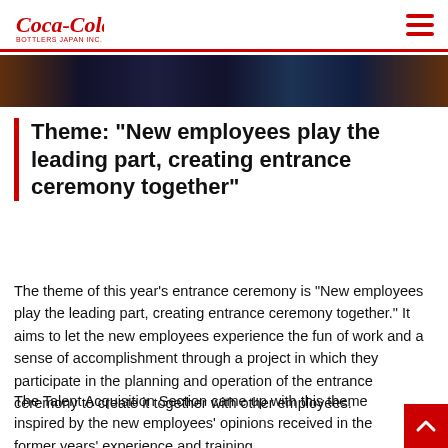Coca-Cola Bottlers Japan Inc.
[Figure (photo): Dark banner image strip showing event/ceremony scene with warm and blue tones]
Theme: "New employees play the leading part, creating entrance ceremony together"
The theme of this year's entrance ceremony is "New employees play the leading part, creating entrance ceremony together." It aims to let the new employees experience the fun of work and a sense of accomplishment through a project in which they participate in the planning and operation of the entrance ceremony to create it together with other employees.
The Talent Acquisition Section came up with this theme inspired by the new employees' opinions received in the former years' experience and training...